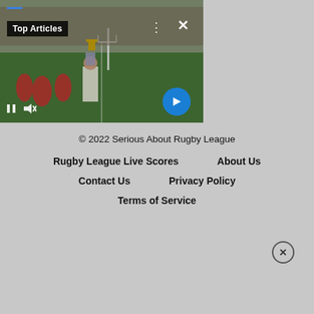[Figure (screenshot): Video player showing rugby league celebration scene with players on field in stadium. Contains Top Articles badge, playback controls (pause, mute), dots menu, close (X) button, and blue arrow next button.]
Leigh Centurions owner Derek Beaumont believes shock Super League side could win Grand Final - Rugby League News
© 2022 Serious About Rugby League
Rugby League Live Scores
About Us
Contact Us
Privacy Policy
Terms of Service